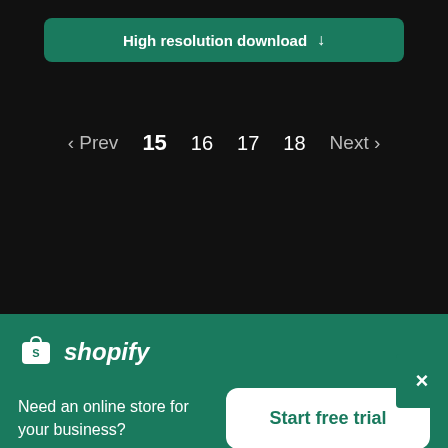High resolution download ↓
‹ Prev  15  16  17  18  Next ›
Start a business
×
[Figure (logo): Shopify logo — shopping bag icon with 'shopify' italic text]
Need an online store for your business?
Start free trial